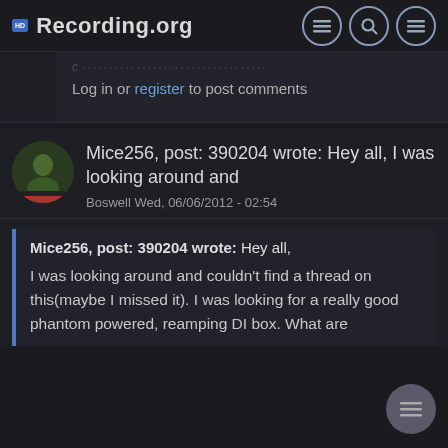RECORDING.ORG
Log in or register to post comments
Mice256, post: 390204 wrote: Hey all, I was looking around and
Boswell Wed, 06/06/2012 - 02:54
Mice256, post: 390204 wrote: Hey all, I was looking around and couldn't find a thread on this(maybe I missed it). I was looking for a really good phantom powered, reamping DI box. What are